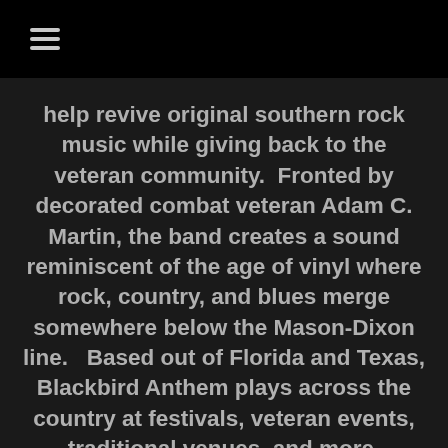☰
help revive original southern rock music while giving back to the veteran community.  Fronted by decorated combat veteran Adam C. Martin, the band creates a sound reminiscent of the age of vinyl where rock, country, and blues merge somewhere below the Mason-Dixon line.   Based out of Florida and Texas, Blackbird Anthem plays across the country at festivals, veteran events, traditional venues, and more.